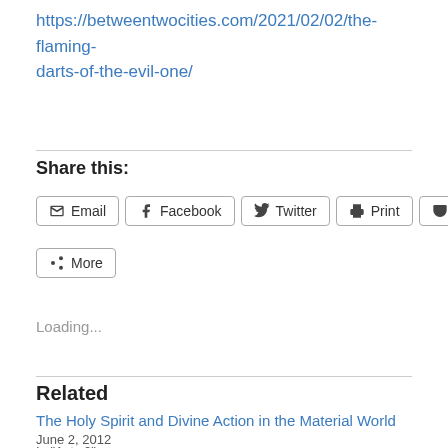https://betweentwocities.com/2021/02/02/the-flaming-darts-of-the-evil-one/
Share this:
[Figure (other): Social sharing buttons: Email, Facebook, Twitter, Print, Pocket, More]
Loading...
Related
The Holy Spirit and Divine Action in the Material World
June 2, 2012
In "Acts 2"
The Importance of the Knowledge of God